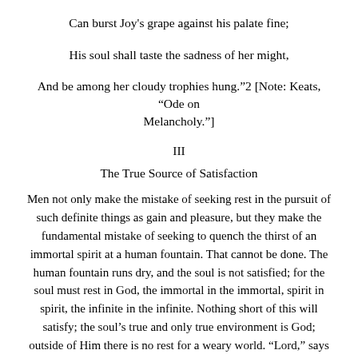Can burst Joy's grape against his palate fine;
His soul shall taste the sadness of her might,
And be among her cloudy trophies hung.”2 [Note: Keats, “Ode on Melancholy.”]
III
The True Source of Satisfaction
Men not only make the mistake of seeking rest in the pursuit of such definite things as gain and pleasure, but they make the fundamental mistake of seeking to quench the thirst of an immortal spirit at a human fountain. That cannot be done. The human fountain runs dry, and the soul is not satisfied; for the soul must rest in God, the immortal in the immortal, spirit in spirit, the infinite in the infinite. Nothing short of this will satisfy; the soul’s true and only true environment is God; outside of Him there is no rest for a weary world. “Lord,” says the saintly Augustine, “Thou hast made us for Thyself, and our heart is restless till